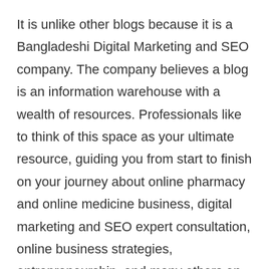It is unlike other blogs because it is a Bangladeshi Digital Marketing and SEO company. The company believes a blog is an information warehouse with a wealth of resources. Professionals like to think of this space as your ultimate resource, guiding you from start to finish on your journey about online pharmacy and online medicine business, digital marketing and SEO expert consultation, online business strategies, entrepreneurship, and many others on the internet or online.
From start to finish, this is the place to go for all solutions for online business opportunities, entrepreneurship, digital marketing, SEO, online